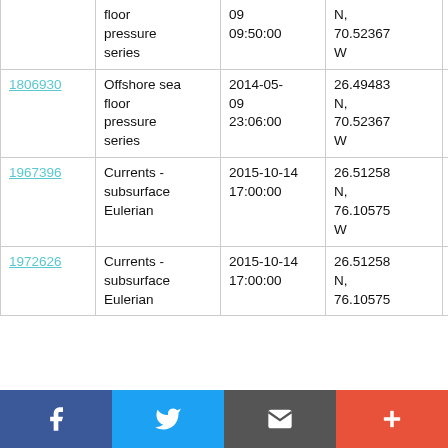| ID | Description | Date/Time | Location | Vessel |
| --- | --- | --- | --- | --- |
| (partial) | floor pressure series | 09 09:50:00 | N, 70.52367 W | James Cook JC103 |
| 1806930 | Offshore sea floor pressure series | 2014-05-09 23:06:00 | 26.49483 N, 70.52367 W | RRS James Cook JC103 |
| 1967396 | Currents - subsurface Eulerian | 2015-10-14 17:00:00 | 26.51258 N, 76.10575 W | RV Endeavor EN570 |
| 1972626 | Currents - subsurface Eulerian | 2015-10-14 17:00:00 | 26.51258 N, 76.10575 | RV Endeavor EN570 |
[Figure (infographic): Social sharing bar with Facebook, Twitter, email/share, and add (+) buttons]